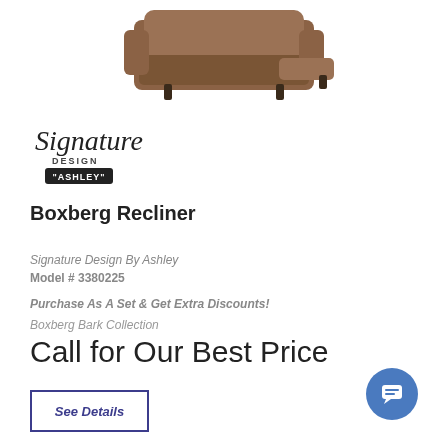[Figure (photo): Brown Boxberg recliner chair product photo shown from front-side angle]
[Figure (logo): Signature Design by Ashley cursive logo]
Boxberg Recliner
Signature Design By Ashley
Model # 3380225
Purchase As A Set & Get Extra Discounts!
Boxberg Bark Collection
Call for Our Best Price
See Details